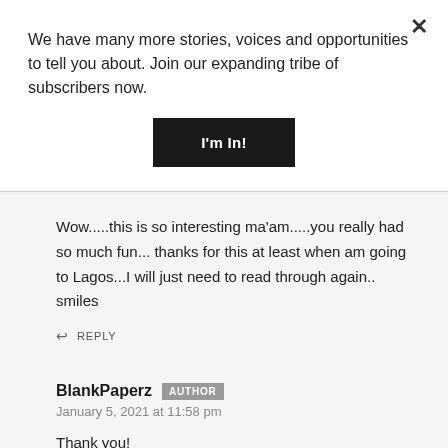We have many more stories, voices and opportunities to tell you about. Join our expanding tribe of subscribers now.
I'm In!
Wow.....this is so interesting ma'am.....you really had so much fun... thanks for this at least when am going to Lagos...I will just need to read through again.. smiles
REPLY
BlankPaperz AUTHOR
January 5, 2021 at 11:58 pm
Thank you!
REPLY